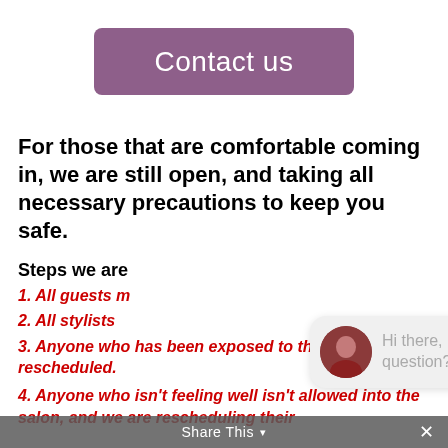Contact us
For those that are comfortable coming in, we are still open, and taking all necessary precautions to keep you safe.
Steps we are
1. All guests m
2. All stylists
3. Anyone who has been exposed to the virus is being rescheduled.
4. Anyone who isn't feeling well isn't allowed into the salon, and we are rescheduling their
[Figure (screenshot): Chat popup with avatar and message: Hi there, have a question? Text us here. Close button and chat icon button visible.]